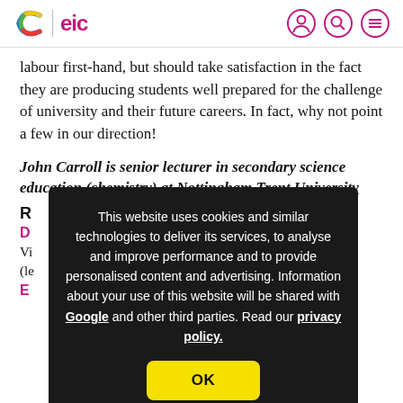C | eic [navigation icons]
labour first-hand, but should take satisfaction in the fact they are producing students well prepared for the challenge of university and their future careers. In fact, why not point a few in our direction!
John Carroll is senior lecturer in secondary science education (chemistry) at Nottingham Trent University
R
D
Vi... (le...
E
[Figure (screenshot): Cookie consent overlay on dark background reading: 'This website uses cookies and similar technologies to deliver its services, to analyse and improve performance and to provide personalised content and advertising. Information about your use of this website will be shared with Google and other third parties. Read our privacy policy.' with an OK button in yellow.]